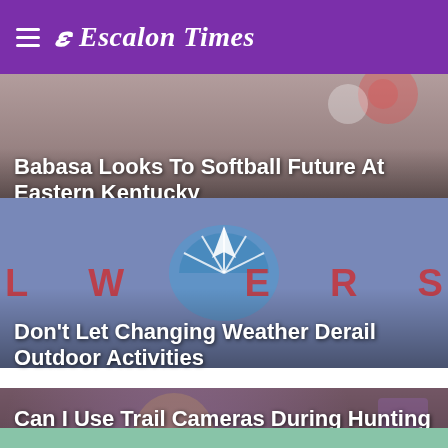Escalon Times
[Figure (photo): Softball photo with balloons and fence in background]
Babasa Looks To Softball Future At Eastern Kentucky
[Figure (photo): Sports logo with blue and white design, letters W and E visible]
Don’t Let Changing Weather Derail Outdoor Activities
[Figure (photo): Hunting scene with sparkly costume/nature elements]
Can I Use Trail Cameras During Hunting Season?
[Figure (photo): Partial photo at bottom, green/teal background with figure]